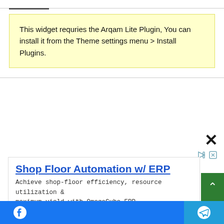This widget requries the Arqam Lite Plugin, You can install it from the Theme settings menu > Install Plugins.
[Figure (screenshot): Advertisement overlay: 'Shop Floor Automation w/ ERP' — Achieve shop-floor efficiency, resource utilization & maximum yield with OmegaCube ERP. Source: OmegaCube ERP Shop Floor. Open button.]
Facebook share | Telegram share social bar